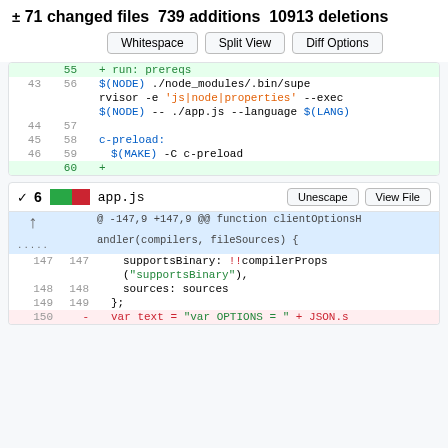± 71 changed files 739 additions 10913 deletions
[Figure (screenshot): Buttons: Whitespace, Split View, Diff Options]
| old | new | code |
| --- | --- | --- |
|  | 55 | + run: prereqs |
| 43 | 56 | $(NODE) ./node_modules/.bin/supervisor -e 'js|node|properties' --exec $(NODE) -- ./app.js --language $(LANG) |
| 44 | 57 |  |
| 45 | 58 | c-preload: |
| 46 | 59 | $(MAKE) -C c-preload |
|  | 60 | + |
6  app.js
| old | new | code |
| --- | --- | --- |
|  |  | @ -147,9 +147,9 @@ function clientOptionsHandler(compilers, fileSources) { |
| 147 | 147 | supportsBinary: !!compilerProps("supportsBinary"), |
| 148 | 148 | sources: sources |
| 149 | 149 | }; |
| 150 | - | var text = "var OPTIONS = " + JSON.s |